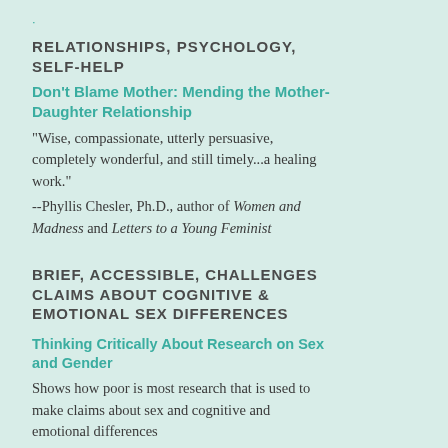RELATIONSHIPS, PSYCHOLOGY, SELF-HELP
Don't Blame Mother: Mending the Mother-Daughter Relationship
"Wise, compassionate, utterly persuasive, completely wonderful, and still timely...a healing work."
--Phyllis Chesler, Ph.D., author of Women and Madness and Letters to a Young Feminist
BRIEF, ACCESSIBLE, CHALLENGES CLAIMS ABOUT COGNITIVE & EMOTIONAL SEX DIFFERENCES
Thinking Critically About Research on Sex and Gender
Shows how poor is most research that is used to make claims about sex and cognitive and emotional differences